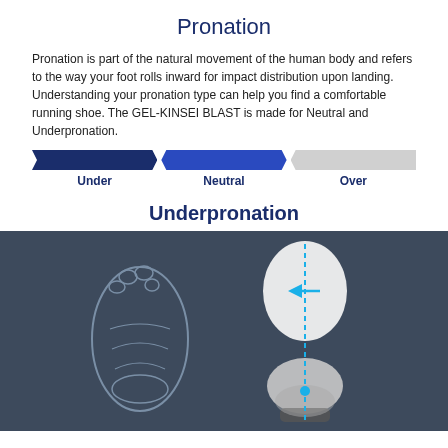Pronation
Pronation is part of the natural movement of the human body and refers to the way your foot rolls inward for impact distribution upon landing. Understanding your pronation type can help you find a comfortable running shoe. The GEL-KINSEI BLAST is made for Neutral and Underpronation.
[Figure (infographic): Three colored parallelogram bars labeled Under (dark navy), Neutral (medium blue), Over (light gray) showing pronation spectrum]
Underpronation
[Figure (illustration): Dark blue background diagram showing a shoe sole outline on the left and a foot/ankle cross-section on the right with a blue dashed vertical line and a blue arrow pointing left, indicating underpronation movement pattern]